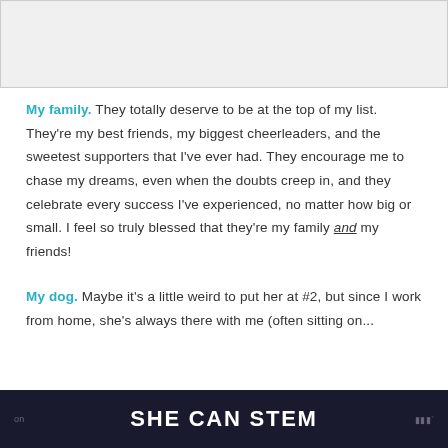[Figure (photo): Light gray placeholder image area at top of page]
My family. They totally deserve to be at the top of my list. They're my best friends, my biggest cheerleaders, and the sweetest supporters that I've ever had. They encourage me to chase my dreams, even when the doubts creep in, and they celebrate every success I've experienced, no matter how big or small. I feel so truly blessed that they're my family and my friends!
My dog. Maybe it's a little weird to put her at #2, but since I work from home, she's always there with me (often sitting on...
SHE CAN STEM